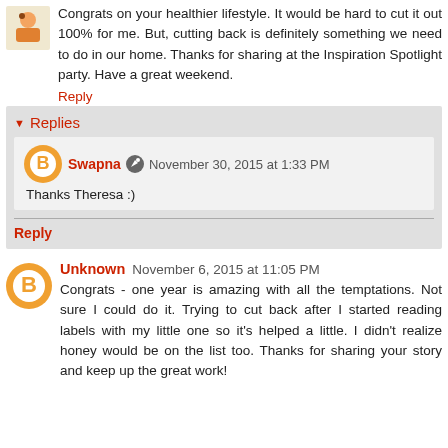Congrats on your healthier lifestyle. It would be hard to cut it out 100% for me. But, cutting back is definitely something we need to do in our home. Thanks for sharing at the Inspiration Spotlight party. Have a great weekend.
Reply
Replies
Swapna November 30, 2015 at 1:33 PM
Thanks Theresa :)
Reply
Unknown November 6, 2015 at 11:05 PM
Congrats - one year is amazing with all the temptations. Not sure I could do it. Trying to cut back after I started reading labels with my little one so it's helped a little. I didn't realize honey would be on the list too. Thanks for sharing your story and keep up the great work!